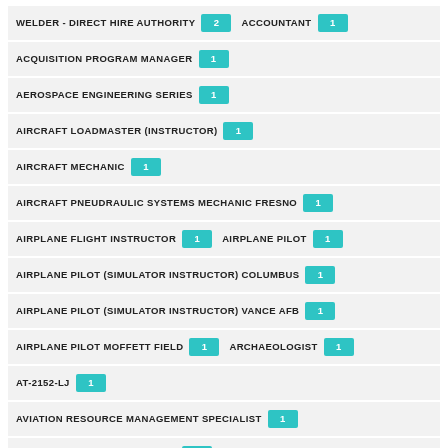WELDER - DIRECT HIRE AUTHORITY (2)
ACCOUNTANT (1)
ACQUISITION PROGRAM MANAGER (1)
AEROSPACE ENGINEERING SERIES (1)
AIRCRAFT LOADMASTER (INSTRUCTOR) (1)
AIRCRAFT MECHANIC (1)
AIRCRAFT PNEUDRAULIC SYSTEMS MECHANIC FRESNO (1)
AIRPLANE FLIGHT INSTRUCTOR (1)
AIRPLANE PILOT (1)
AIRPLANE PILOT (SIMULATOR INSTRUCTOR) COLUMBUS (1)
AIRPLANE PILOT (SIMULATOR INSTRUCTOR) VANCE AFB (1)
AIRPLANE PILOT MOFFETT FIELD (1)
ARCHAEOLOGIST (1)
AT-2152-LJ (1)
AVIATION RESOURCE MANAGEMENT SPECIALIST (1)
ACADEMIC ANESTHESIOLOGIST (1)